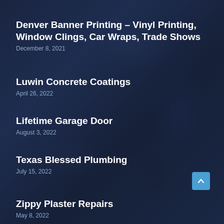Denver Banner Printing – Vinyl Printing, Window Clings, Car Wraps, Trade Shows
December 8, 2021
Luwin Concrete Coatings
April 26, 2022
Lifetime Garage Door
August 3, 2022
Texas Blessed Plumbing
July 15, 2022
Zippy Plaster Repairs
May 8, 2022